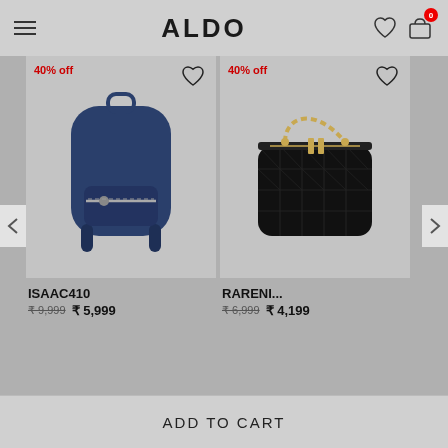ALDO
[Figure (photo): Navy blue backpack with zipper pocket and silver hardware, 40% off badge]
ISAAC410
₹9,999  ₹ 5,999
[Figure (photo): Black quilted vanity/lunch box bag with gold chain handle and gold zipper, 40% off badge]
RARENI...
₹6,999  ₹ 4,199
ADD TO CART